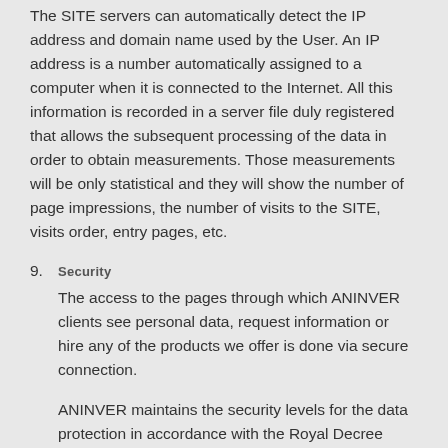The SITE servers can automatically detect the IP address and domain name used by the User. An IP address is a number automatically assigned to a computer when it is connected to the Internet. All this information is recorded in a server file duly registered that allows the subsequent processing of the data in order to obtain measurements. Those measurements will be only statistical and they will show the number of page impressions, the number of visits to the SITE, visits order, entry pages, etc.
9. Security
The access to the pages through which ANINVER clients see personal data, request information or hire any of the products we offer is done via secure connection.

ANINVER maintains the security levels for the data protection in accordance with the Royal Decree 994/1999, of June 11th, concerning security measures for automated files containing personal data and has established all the measures at its disposal to prevent the